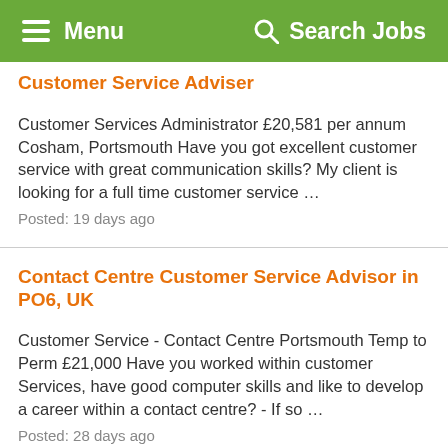Menu | Search Jobs
Customer Service Adviser
Customer Services Administrator £20,581 per annum Cosham, Portsmouth Have you got excellent customer service with great communication skills? My client is looking for a full time customer service …
Posted: 19 days ago
Contact Centre Customer Service Advisor in PO6, UK
Customer Service - Contact Centre Portsmouth Temp to Perm £21,000 Have you worked within customer Services, have good computer skills and like to develop a career within a contact centre? - If so …
Posted: 28 days ago
Customer Care Advisor - Contact Centre in PO6, UK
Customer Care Advisor - Contact Centre Portsmouth -